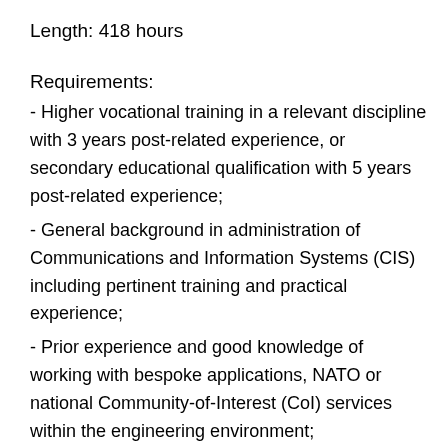Length: 418 hours
Requirements:
- Higher vocational training in a relevant discipline with 3 years post-related experience, or secondary educational qualification with 5 years post-related experience;
- General background in administration of Communications and Information Systems (CIS) including pertinent training and practical experience;
- Prior experience and good knowledge of working with bespoke applications, NATO or national Community-of-Interest (CoI) services within the engineering environment;